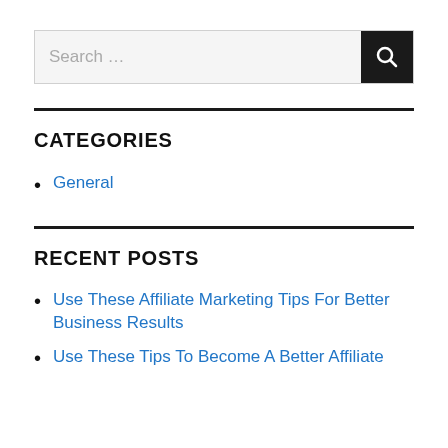[Figure (screenshot): Search bar with text 'Search ...' and a black search button with magnifying glass icon]
CATEGORIES
General
RECENT POSTS
Use These Affiliate Marketing Tips For Better Business Results
Use These Tips To Become A Better Affiliate